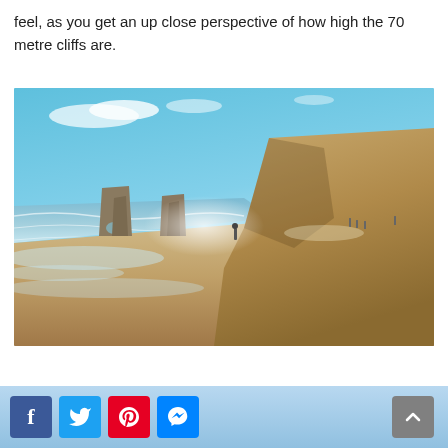feel, as you get an up close perspective of how high the 70 metre cliffs are.
[Figure (photo): A sunny beach scene with large limestone sea stacks in the background left, tall cliffs on the right, ocean waves washing onto sandy shore, a lone person standing on the beach, and misty haze near the cliffs.]
[Figure (screenshot): Social sharing bar with Facebook, Twitter, Pinterest, and Messenger buttons on a light blue background, and a scroll-to-top button on the right.]